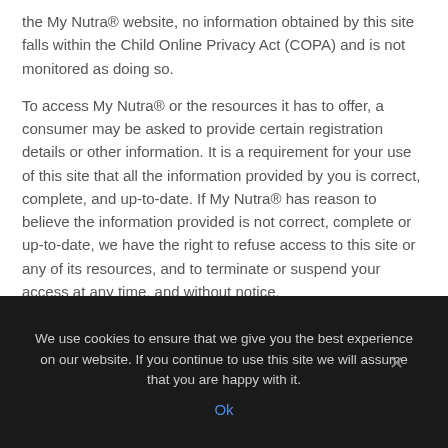the My Nutra® website, no information obtained by this site falls within the Child Online Privacy Act (COPA) and is not monitored as doing so.
To access My Nutra® or the resources it has to offer, a consumer may be asked to provide certain registration details or other information. It is a requirement for your use of this site that all the information provided by you is correct, complete, and up-to-date. If My Nutra® has reason to believe the information provided is not correct, complete or up-to-date, we have the right to refuse access to this site or any of its resources, and to terminate or suspend your access at any time, and without notice.
We use cookies to ensure that we give you the best experience on our website. If you continue to use this site we will assume that you are happy with it.
Ok